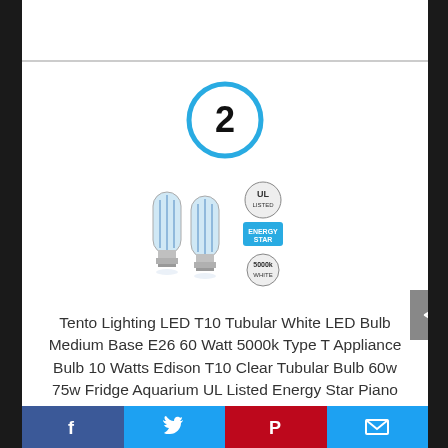[Figure (other): Circle with number 2 in blue outline]
[Figure (photo): Two LED T10 tubular light bulbs with UL Listed and Energy Star certification logos]
Tento Lighting LED T10 Tubular White LED Bulb Medium Base E26 60 Watt 5000k Type T Appliance Bulb 10 Watts Edison T10 Clear Tubular Bulb 60w 75w Fridge Aquarium UL Listed Energy Star Piano Light Bulb
Facebook | Twitter | Pinterest | Email